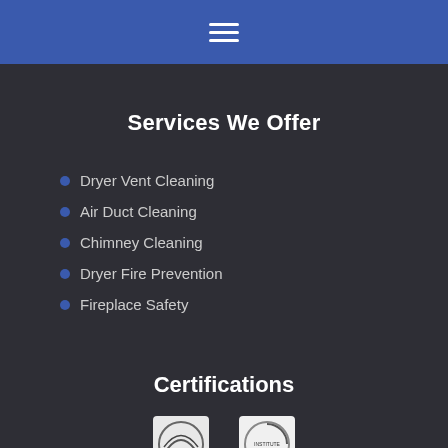Navigation menu
Services We Offer
Dryer Vent Cleaning
Air Duct Cleaning
Chimney Cleaning
Dryer Fire Prevention
Fireplace Safety
Certifications
[Figure (logo): Two certification logos partially visible at the bottom of the page]